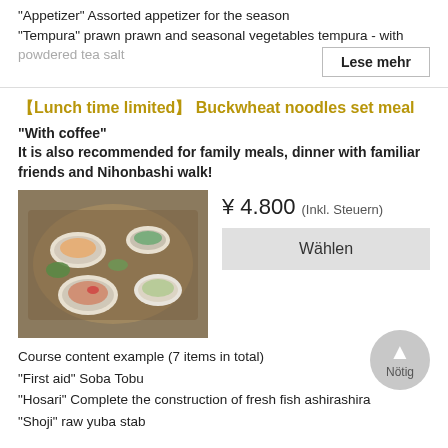"Appetizer" Assorted appetizer for the season
"Tempura" prawn prawn and seasonal vegetables tempura - with powdered tea salt
Lese mehr
【Lunch time limited】 Buckwheat noodles set meal
"With coffee"
It is also recommended for family meals, dinner with familiar friends and Nihonbashi walk!
[Figure (photo): Japanese multi-dish set meal with various small plates including tempura, sashimi, tofu, and other traditional Japanese dishes arranged on a tray]
¥ 4.800 (Inkl. Steuern)
Wählen
Nötig
Course content example (7 items in total)
"First aid" Soba Tobu
"Hosari" Complete the construction of fresh fish ashirashira
"Shoji" raw yuba stab